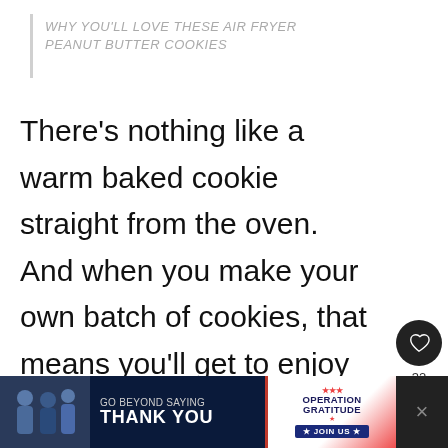WHY YOU'LL LOVE THESE AIR FRYER PEANUT BUTTER COOKIES
There's nothing like a warm baked cookie straight from the oven. And when you make your own batch of cookies, that means you'll get to enjoy more than one of these treats over and over again.
[Figure (other): Social media UI overlay with heart/like button showing 32 likes and a share button]
[Figure (other): What's Next promo thumbnail — How To Freeze Cookie Dou...]
[Figure (other): Advertisement banner: Go Beyond Saying Thank You — Operation Gratitude Join Us]